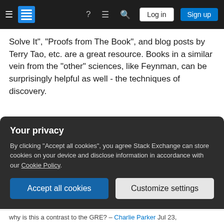Navigation bar with hamburger menu, logo, help, chat, search, Log in, Sign up
Solve It", "Proofs from The Book", and blog posts by Terry Tao, etc. are a great resource. Books in a similar vein from the "other" sciences, like Feynman, can be surprisingly helpful as well - the techniques of discovery.
Share   Cite   Follow   edited May 4, 2017 at 21:38
answered Feb 20, 2013 at 18:39
icurays1
16.3k  ●1  ■42  ▲69
Your privacy
By clicking "Accept all cookies", you agree Stack Exchange can store cookies on your device and disclose information in accordance with our Cookie Policy.
Accept all cookies   Customize settings
why is this a contrast to the GRE? – Charlie Parker Jul 23,